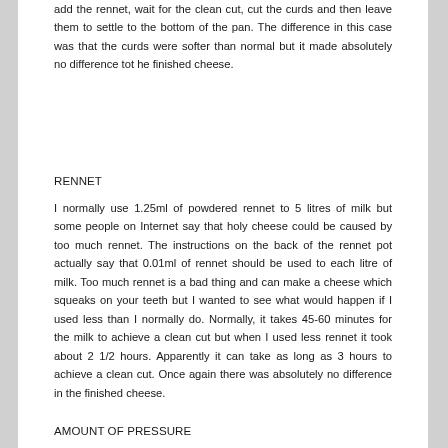add the rennet, wait for the clean cut, cut the curds and then leave them to settle to the bottom of the pan. The difference in this case was that the curds were softer than normal but it made absolutely no difference tot he finished cheese.
RENNET
I normally use 1.25ml of powdered rennet to 5 litres of milk but some people on Internet say that holy cheese could be caused by too much rennet. The instructions on the back of the rennet pot actually say that 0.01ml of rennet should be used to each litre of milk. Too much rennet is a bad thing and can make a cheese which squeaks on your teeth but I wanted to see what would happen if I used less than I normally do. Normally, it takes 45-60 minutes for the milk to achieve a clean cut but when I used less rennet it took about 2 1/2 hours. Apparently it can take as long as 3 hours to achieve a clean cut. Once again there was absolutely no difference in the finished cheese.
AMOUNT OF PRESSURE